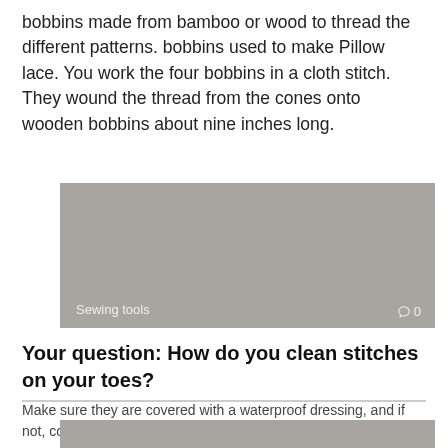bobbins made from bamboo or wood to thread the different patterns. bobbins used to make Pillow lace. You work the four bobbins in a cloth stitch. They wound the thread from the cones onto wooden bobbins about nine inches long.
[Figure (photo): Gray placeholder image card with label 'Sewing tools' and a comment icon showing 0 comments]
Your question: How do you clean stitches on your toes?
Make sure they are covered with a waterproof dressing, and if not, cover it
[Figure (photo): Gray placeholder image card, partially visible at bottom of page]